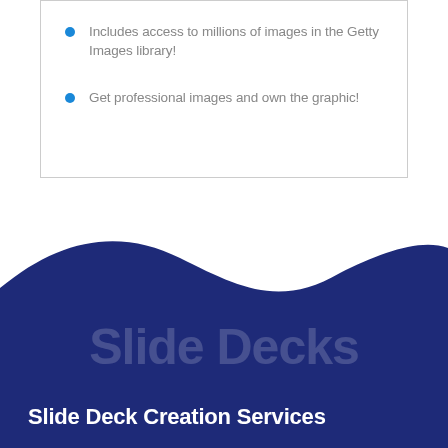Includes access to millions of images in the Getty Images library!
Get professional images and own the graphic!
[Figure (illustration): Dark navy blue wave shape filling the bottom portion of the page with watermark text 'Slide Decks' and a bold title 'Slide Deck Creation Services']
Slide Deck Creation Services